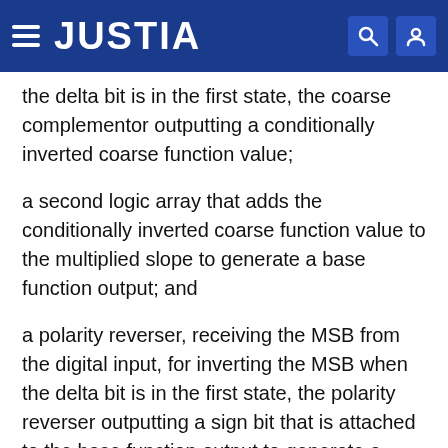JUSTIA
the delta bit is in the first state, the coarse complementor outputting a conditionally inverted coarse function value;
a second logic array that adds the conditionally inverted coarse function value to the multiplied slope to generate a base function output; and
a polarity reverser, receiving the MSB from the digital input, for inverting the MSB when the delta bit is in the first state, the polarity reverser outputting a sign bit that is attached to the base function output to generate a function value output,
whereby the function value output is generated by conditional inversion, table lookups, and logic arrays.